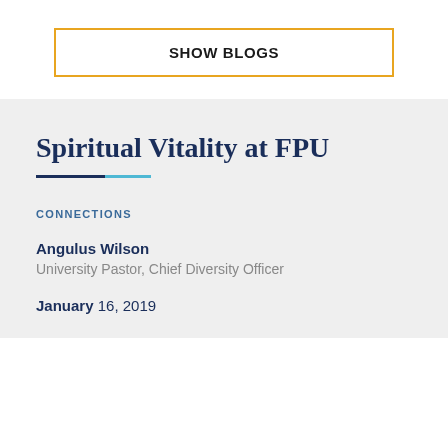SHOW BLOGS
Spiritual Vitality at FPU
CONNECTIONS
Angulus Wilson
University Pastor, Chief Diversity Officer
January 16, 2019